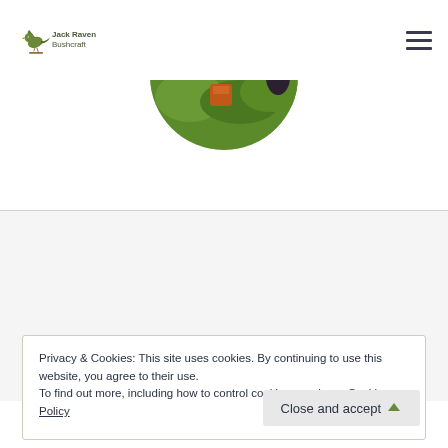[Figure (logo): Jack Raven Bushcraft logo with green bird illustration and text]
[Figure (photo): Circular cropped photo showing outdoor bushcraft scene with green plants and a person]
Privacy & Cookies: This site uses cookies. By continuing to use this website, you agree to their use.
To find out more, including how to control cookies, see here: Cookie Policy
Close and accept